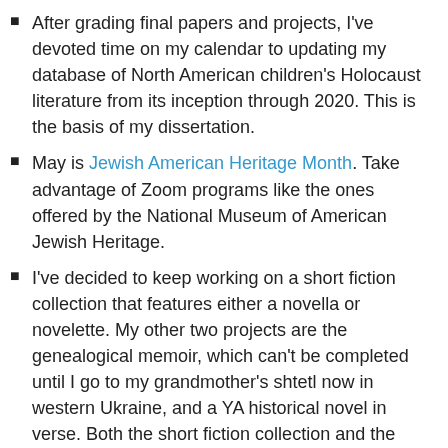After grading final papers and projects, I've devoted time on my calendar to updating my database of North American children's Holocaust literature from its inception through 2020. This is the basis of my dissertation.
May is Jewish American Heritage Month. Take advantage of Zoom programs like the ones offered by the National Museum of American Jewish Heritage.
I've decided to keep working on a short fiction collection that features either a novella or novelette. My other two projects are the genealogical memoir, which can't be completed until I go to my grandmother's shtetl now in western Ukraine, and a YA historical novel in verse. Both the short fiction collection and the new novel in verse address Holocaust refugees in postwar America.